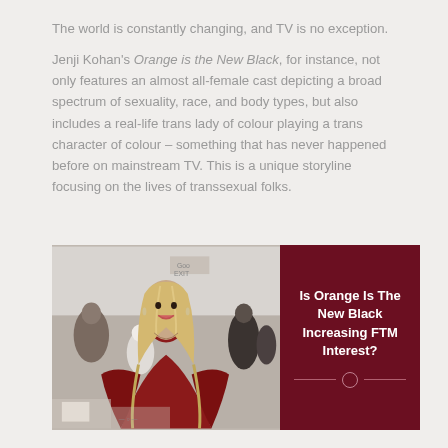The world is constantly changing, and TV is no exception.
Jenji Kohan's Orange is the New Black, for instance, not only features an almost all-female cast depicting a broad spectrum of sexuality, race, and body types, but also includes a real-life trans lady of colour playing a trans character of colour – something that has never happened before on mainstream TV. This is a unique storyline focusing on the lives of transsexual folks.
[Figure (photo): Photo of a woman in a red dress with blonde hair at an event, combined with a dark red panel featuring text 'Is Orange Is The New Black Increasing FTM Interest?']